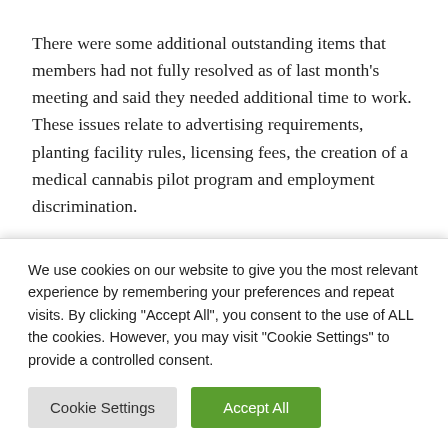There were some additional outstanding items that members had not fully resolved as of last month's meeting and said they needed additional time to work. These issues relate to advertising requirements, planting facility rules, licensing fees, the creation of a medical cannabis pilot program and employment discrimination.
After briefing his House counterpart on the list of items and proposals at the April hearing, Olson indicated that members
We use cookies on our website to give you the most relevant experience by remembering your preferences and repeat visits. By clicking "Accept All", you consent to the use of ALL the cookies. However, you may visit "Cookie Settings" to provide a controlled consent.